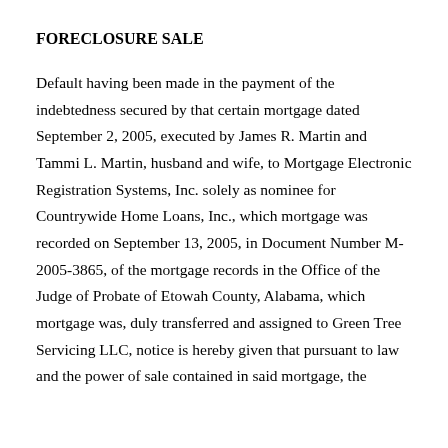FORECLOSURE SALE
Default having been made in the payment of the indebtedness secured by that certain mortgage dated September 2, 2005, executed by James R. Martin and Tammi L. Martin, husband and wife, to Mortgage Electronic Registration Systems, Inc. solely as nominee for Countrywide Home Loans, Inc., which mortgage was recorded on September 13, 2005, in Document Number M-2005-3865, of the mortgage records in the Office of the Judge of Probate of Etowah County, Alabama, which mortgage was, duly transferred and assigned to Green Tree Servicing LLC, notice is hereby given that pursuant to law and the power of sale contained in said mortgage, the